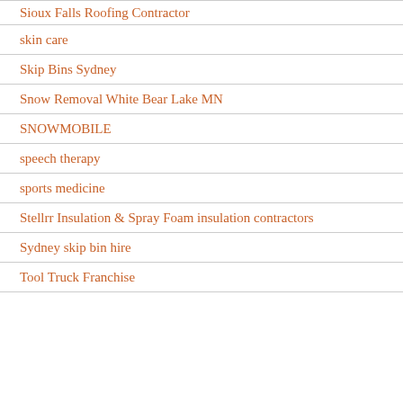Sioux Falls Roofing Contractor
skin care
Skip Bins Sydney
Snow Removal White Bear Lake MN
SNOWMOBILE
speech therapy
sports medicine
Stellrr Insulation & Spray Foam insulation contractors
Sydney skip bin hire
Tool Truck Franchise